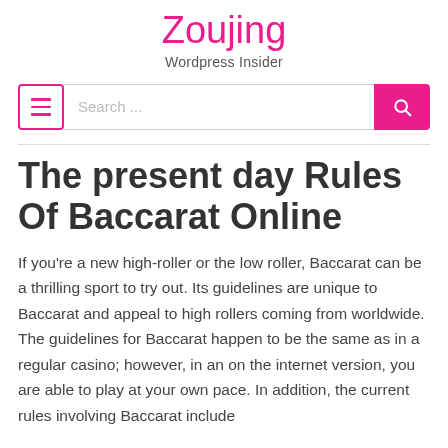Zoujing
Wordpress Insider
The present day Rules Of Baccarat Online
If you're a new high-roller or the low roller, Baccarat can be a thrilling sport to try out. Its guidelines are unique to Baccarat and appeal to high rollers coming from worldwide. The guidelines for Baccarat happen to be the same as in a regular casino; however, in an on the internet version, you are able to play at your own pace. In addition, the current rules involving Baccarat include